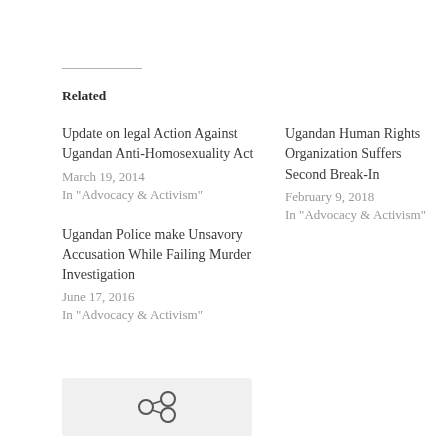Related
Update on legal Action Against Ugandan Anti-Homosexuality Act
March 19, 2014
In "Advocacy & Activism"
Ugandan Human Rights Organization Suffers Second Break-In
February 9, 2018
In "Advocacy & Activism"
Ugandan Police make Unsavory Accusation While Failing Murder Investigation
June 17, 2016
In "Advocacy & Activism"
[Figure (other): Share icon (two connected circles) inside a light gray box]